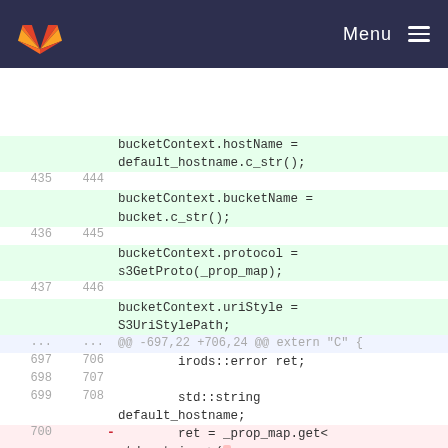GitLab — Menu
[Figure (screenshot): GitLab code diff viewer showing C++ source changes. Lines 435-446 show added context (green background) with bucketContext assignments. Lines 697-708 show normal diff context with irods::error and std::string declarations. Lines 700-701 show removed lines (red background) with ret = _prop_map.get<std::string >( and s3_default_hostname,. Line 709 shows added line (green) with ret = _prop_map.get<.]